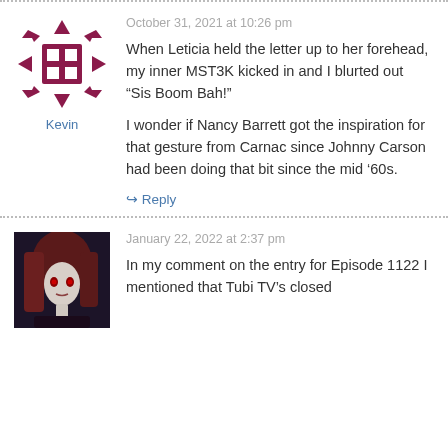October 31, 2021 at 10:26 pm
When Leticia held the letter up to her forehead, my inner MST3K kicked in and I blurted out “Sis Boom Bah!”

I wonder if Nancy Barrett got the inspiration for that gesture from Carnac since Johnny Carson had been doing that bit since the mid ’60s.
↳ Reply
January 22, 2022 at 2:37 pm
In my comment on the entry for Episode 1122 I mentioned that Tubi TV’s closed